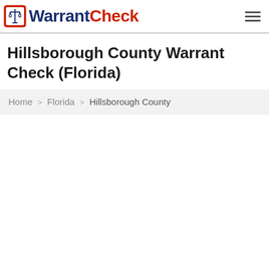WarrantCheck
Hillsborough County Warrant Check (Florida)
Home > Florida > Hillsborough County